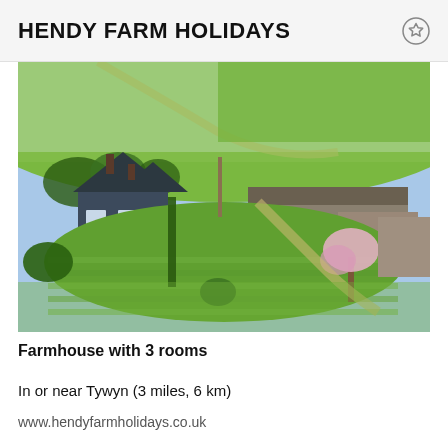HENDY FARM HOLIDAYS
[Figure (photo): Aerial photograph of Hendy Farm showing a stone farmhouse with gardens and surrounding green fields]
Farmhouse with 3 rooms
In or near Tywyn (3 miles, 6 km)
www.hendyfarmholidays.co.uk